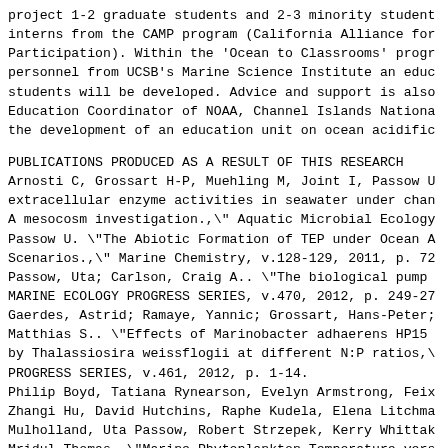project 1-2 graduate students and 2-3 minority students interns from the CAMP program (California Alliance for Participation). Within the 'Ocean to Classrooms' program personnel from UCSB's Marine Science Institute an education students will be developed. Advice and support is also Education Coordinator of NOAA, Channel Islands National the development of an education unit on ocean acidification
PUBLICATIONS PRODUCED AS A RESULT OF THIS RESEARCH
Arnosti C, Grossart H-P, Muehling M, Joint I, Passow U. extracellular enzyme activities in seawater under changing A mesocosm investigation., \" Aquatic Microbial Ecology Passow U. \"The Abiotic Formation of TEP under Ocean Acidification Scenarios., \" Marine Chemistry, v.128-129, 2011, p. 72. Passow, Uta; Carlson, Craig A.. \"The biological pump MARINE ECOLOGY PROGRESS SERIES, v.470, 2012, p. 249-27. Gaerdes, Astrid; Ramaye, Yannic; Grossart, Hans-Peter; Matthias S.. \"Effects of Marinobacter adhaerens HP15 by Thalassiosira weissflogii at different N:P ratios, \ PROGRESS SERIES, v.461, 2012, p. 1-14. Philip Boyd, Tatiana Rynearson, Evelyn Armstrong, Feix. Zhangi Hu, David Hutchins, Raphe Kudela, Elena Litchman, Mulholland, Uta Passow, Robert Strzepek, Kerry Whittak. Mridul Thomas. \"Marine Phytoplankton Temperature versus from Polar to Tropical Waters - Outcome of a Scientific Study,\" PLOS One, v.8, 2013, p. e63091.